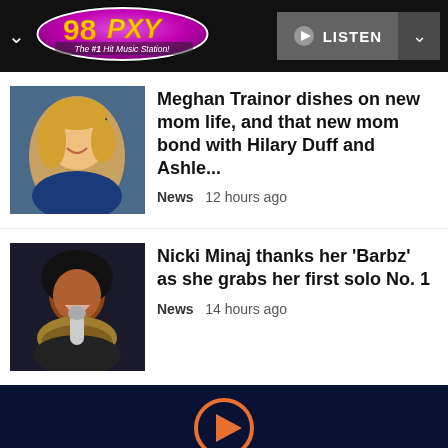[Figure (logo): 98 PXY The #1 Hit Music Station radio station logo, oval shape with pink/purple gradient and yellow text]
LISTEN
[Figure (photo): Meghan Trainor with headphones at a microphone, smiling, blonde hair]
Meghan Trainor dishes on new mom life, and that new mom bond with Hilary Duff and Ashle...
News  12 hours ago
[Figure (photo): Nicki Minaj performing, smiling, holding microphone, wearing fur and leather]
Nicki Minaj thanks her 'Barbz' as she grabs her first solo No. 1
News  14 hours ago
[Figure (other): Orange play button circle icon on dark navy background footer bar]